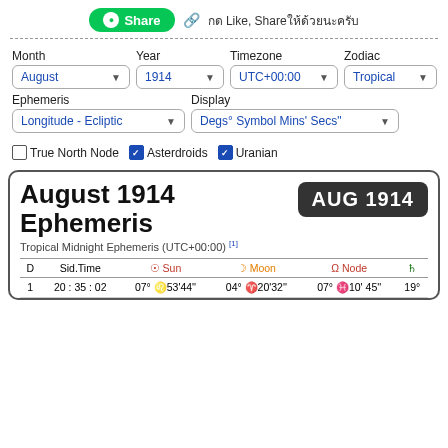[Figure (other): LINE Share button with link icon and Thai text 'กด Like, Share ให้ด้วยนะครับ']
Month
Year
Timezone
Zodiac
August (dropdown)
1914 (dropdown)
UTC+00:00 (dropdown)
Tropical (dropdown)
Ephemeris
Display
Longitude - Ecliptic (dropdown)
Degs° Symbol Mins' Secs" (dropdown)
True North Node (unchecked)
Asterdroids (checked)
Uranian (checked)
August 1914 Ephemeris
Tropical Midnight Ephemeris (UTC+00:00) [1]
| D | Sid.Time | Sun | Moon | Node |  |
| --- | --- | --- | --- | --- | --- |
| 1 | 20:35:02 | 07° ♌ 53'44" | 04° ♈ 20'32" | 07° ♓ 10' 45" | 19° |